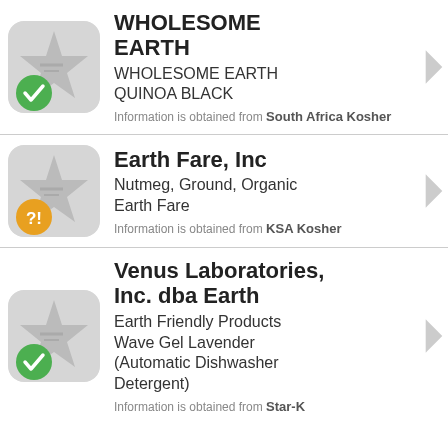[Figure (infographic): Green checkmark badge icon with star and shopping cart on grey rounded square background]
WHOLESOME EARTH
WHOLESOME EARTH QUINOA BLACK
Information is obtained from South Africa Kosher
[Figure (infographic): Orange question mark badge icon with star and shopping cart on grey rounded square background]
Earth Fare, Inc
Nutmeg, Ground, Organic Earth Fare
Information is obtained from KSA Kosher
[Figure (infographic): Green checkmark badge icon with star and shopping cart on grey rounded square background]
Venus Laboratories, Inc. dba Earth
Earth Friendly Products Wave Gel Lavender (Automatic Dishwasher Detergent)
Information is obtained from Star-K